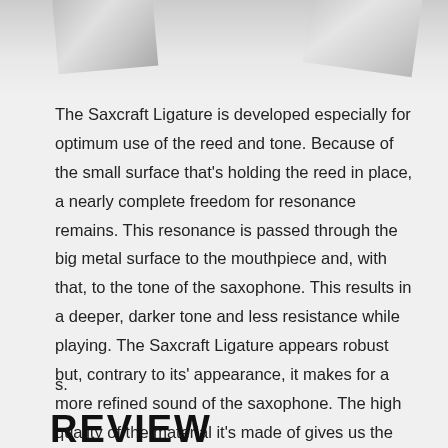[Figure (photo): Photograph of cylindrical saxophone ligature components on a light gray background, viewed from above/side angle.]
The Saxcraft Ligature is developed especially for optimum use of the reed and tone. Because of the small surface that's holding the reed in place, a nearly complete freedom for resonance remains. This resonance is passed through the big metal surface to the mouthpiece and, with that, to the tone of the saxophone. This results in a deeper, darker tone and less resistance while playing. The Saxcraft Ligature appears robust but, contrary to its' appearance, it makes for a more refined sound of the saxophone. The high quality of the material it's made of gives us the confidence to give a 10 year warranty for the ligature, which costs € 195,-.
s.
REVIEW